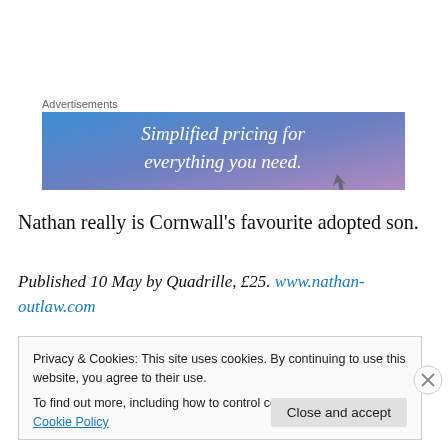Advertisements
[Figure (other): Advertisement banner with blue-purple gradient background and white text reading 'Simplified pricing for everything you need.']
Nathan really is Cornwall's favourite adopted son.
Published 10 May by Quadrille, £25. www.nathan-outlaw.com
Privacy & Cookies: This site uses cookies. By continuing to use this website, you agree to their use.
To find out more, including how to control cookies, see here: Cookie Policy